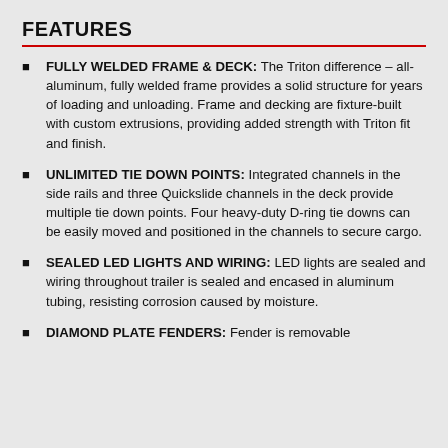FEATURES
FULLY WELDED FRAME & DECK: The Triton difference – all-aluminum, fully welded frame provides a solid structure for years of loading and unloading. Frame and decking are fixture-built with custom extrusions, providing added strength with Triton fit and finish.
UNLIMITED TIE DOWN POINTS: Integrated channels in the side rails and three Quickslide channels in the deck provide multiple tie down points. Four heavy-duty D-ring tie downs can be easily moved and positioned in the channels to secure cargo.
SEALED LED LIGHTS AND WIRING: LED lights are sealed and wiring throughout trailer is sealed and encased in aluminum tubing, resisting corrosion caused by moisture.
DIAMOND PLATE FENDERS: Fender is removable